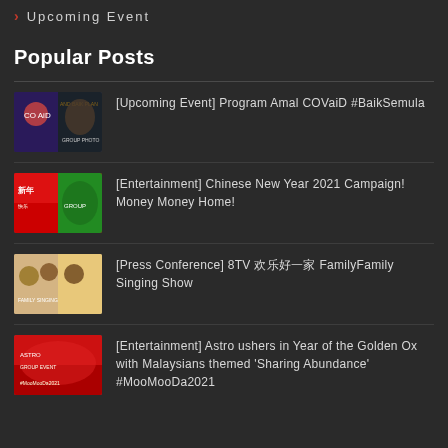Upcoming Event
Popular Posts
[Upcoming Event] Program Amal COVaiD #BaikSemula
[Entertainment] Chinese New Year 2021 Campaign! Money Money Home!
[Press Conference] 8TV 欢乐好一家 Family Family Singing Show
[Entertainment] Astro ushers in Year of the Golden Ox with Malaysians themed 'Sharing Abundance' #MooMooDa2021